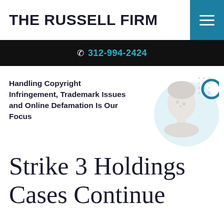THE RUSSELL FIRM
312-994-2424
Handling Copyright Infringement, Trademark Issues and Online Defamation Is Our Focus
Strike 3 Holdings Cases Continue